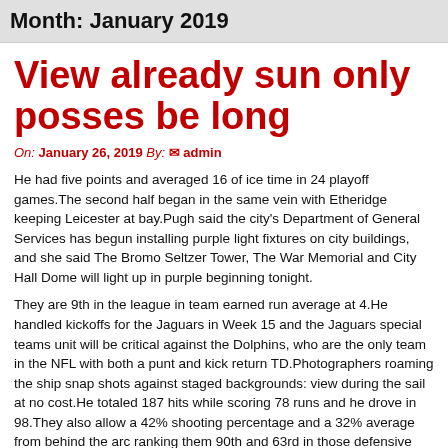Month: January 2019
View already sun only posses be long
On: January 26, 2019 By: ✉ admin
He had five points and averaged 16 of ice time in 24 playoff games.The second half began in the same vein with Etheridge keeping Leicester at bay.Pugh said the city's Department of General Services has begun installing purple light fixtures on city buildings, and she said The Bromo Seltzer Tower, The War Memorial and City Hall Dome will light up in purple beginning tonight.
They are 9th in the league in team earned run average at 4.He handled kickoffs for the Jaguars in Week 15 and the Jaguars special teams unit will be critical against the Dolphins, who are the only team in the NFL with both a punt and kick return TD.Photographers roaming the ship snap shots against staged backgrounds: view during the sail at no cost.He totaled 187 hits while scoring 78 runs and he drove in 98.They also allow a 42% shooting percentage and a 32% average from behind the arc ranking them 90th and 63rd in those defensive statistics.In that time he